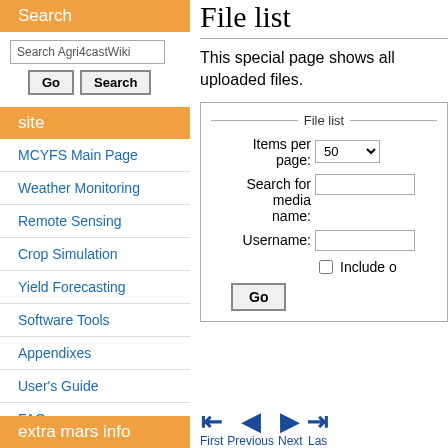Search
Search Agri4castWiki
Go   Search
site
MCYFS Main Page
Weather Monitoring
Remote Sensing
Crop Simulation
Yield Forecasting
Software Tools
Appendixes
User's Guide
FAQ
extra mars info
File list
This special page shows all uploaded files.
File list
Items per page: 50
Search for media name:
Username:
Include o
Go
First   Previous   Next   Las...